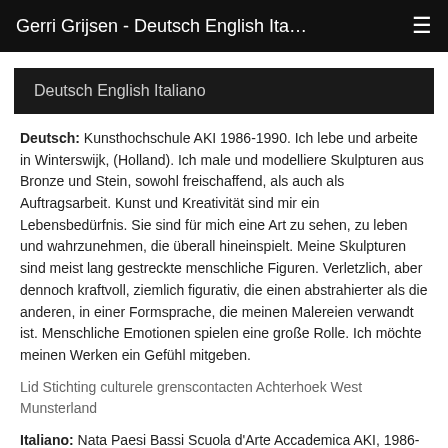Gerri Grijsen - Deutsch English Ita…
Deutsch English Italiano
Deutsch: Kunsthochschule AKI 1986-1990. Ich lebe und arbeite in Winterswijk, (Holland). Ich male und modelliere Skulpturen aus Bronze und Stein, sowohl freischaffend, als auch als Auftragsarbeit. Kunst und Kreativität sind mir ein Lebensbedürfnis. Sie sind für mich eine Art zu sehen, zu leben und wahrzunehmen, die überall hineinspielt. Meine Skulpturen sind meist lang gestreckte menschliche Figuren. Verletzlich, aber dennoch kraftvoll, ziemlich figurativ, die einen abstrahierter als die anderen, in einer Formsprache, die meinen Malereien verwandt ist. Menschliche Emotionen spielen eine große Rolle. Ich möchte meinen Werken ein Gefühl mitgeben.
Lid Stichting culturele grenscontacten Achterhoek West Munsterland
Italiano: Nata Paesi Bassi Scuola d'Arte Accademica AKI, 1986-